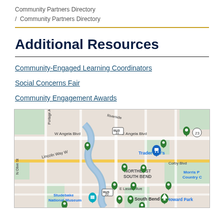Community Partners Directory
/ Community Partners Directory
Additional Resources
Community-Engaged Learning Coordinators
Social Concerns Fair
Community Engagement Awards
[Figure (map): Google map of South Bend, Indiana area showing multiple green location pins for community partners around NORTHEAST SOUTH BEND area, with street labels including W Angela Blvd, E Angela Blvd, Lincoln Way W, E Lasalle Ave, and landmarks including Trader Joe's, Studebaker National Museum, Howard Park, Morris P Country C. Blue bus route markers for routes 31 and 20 visible.]